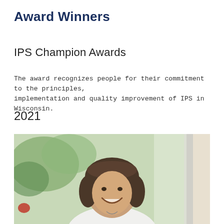Award Winners
IPS Champion Awards
The award recognizes people for their commitment to the principles, implementation and quality improvement of IPS in Wisconsin.
2021
[Figure (photo): A smiling woman with a short brown bob haircut, seated near a bright window with green foliage in the background, wearing a light-colored top.]